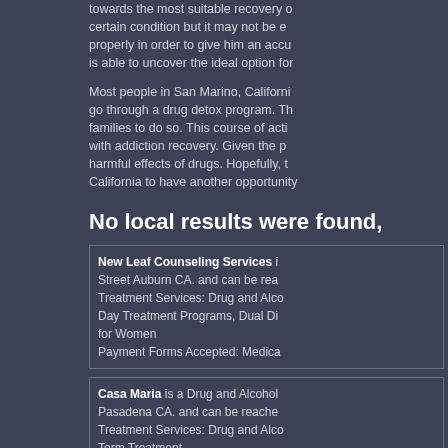towards the most suitable recovery certain condition but it may not be e properly in order to give him an accu is able to uncover the ideal option for
Most people in San Marino, Californi go through a drug detox program. Th families to do so. This course of acti with addiction recovery. Given the p harmful effects of drugs. Hopefully, t California to have another opportunity
No local results were found,
New Leaf Counseling Services is located at Street Auburn CA. and can be rea Treatment Services: Drug and Alco Day Treatment Programs, Dual Di for Women Payment Forms Accepted: Medica
Casa Maria is a Drug and Alcohol located at Pasadena CA. and can be reached Treatment Services: Drug and Alco Term Treatment Payment Forms Accepted: Self Pa
Fort Help LLC is a Drug Treatme located at Street San Francisco CA. and can Treatment Services: Drug and Alco Maintenance, Methadone Detox, other than Spanish Payment Forms Accepted: Self P